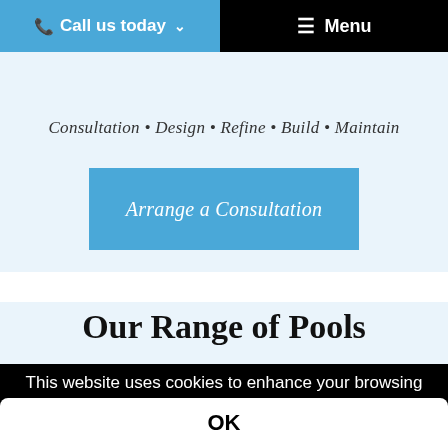Call us today  Menu
Consultation • Design • Refine • Build • Maintain
Arrange a Consultation
Our Range of Pools
This website uses cookies to enhance your browsing experience...
More
OK